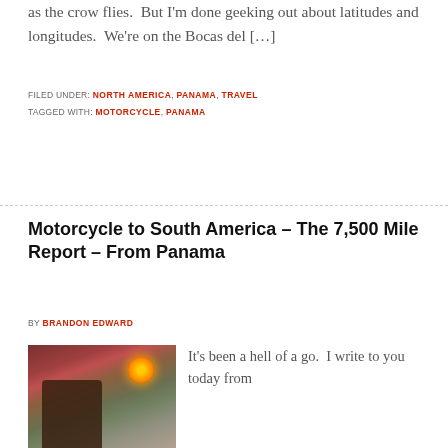as the crow flies.  But I'm done geeking out about latitudes and longitudes.  We're on the Bocas del […]
FILED UNDER: NORTH AMERICA, PANAMA, TRAVEL
TAGGED WITH: MOTORCYCLE, PANAMA
Motorcycle to South America – The 7,500 Mile Report – From Panama
BY BRANDON EDWARD
[Figure (photo): Photo of a person sitting indoors, with a neon circular orange/yellow sign visible on the wall behind them.]
It's been a hell of a go.  I write to you today from